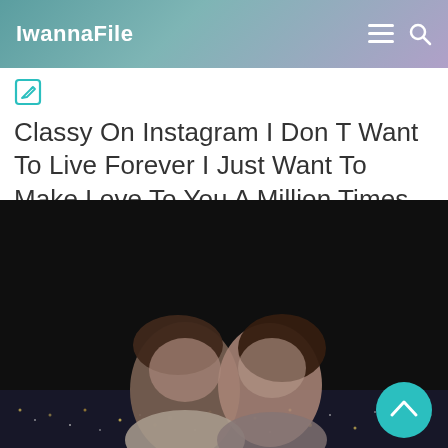IwannaFile
[Figure (other): Edit/link icon (pencil in box) in teal color]
Classy On Instagram I Don T Want To Live Forever I Just Want To Make Love To You A Million Times And Die Photo Cute Couple Pictures Aesthetic Pictures
[Figure (photo): A couple hugging and laughing together on a rooftop at night with city lights in the background. A teal circular scroll-to-top button is visible in the bottom right corner.]